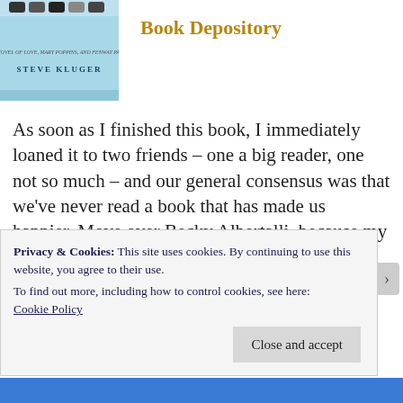[Figure (photo): Book cover for a novel by Steve Kluger — A Novel of Love, Mary Poppins, and Fenway Park]
Book Depository
As soon as I finished this book, I immediately loaned it to two friends – one a big reader, one not so much – and our general consensus was that we've never read a book that has made us happier. Move over Becky Albertalli, because my favourite gay teen romance is right here. Two
Privacy & Cookies: This site uses cookies. By continuing to use this website, you agree to their use.
To find out more, including how to control cookies, see here:
Cookie Policy
Close and accept